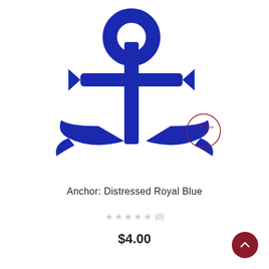[Figure (illustration): A royal blue distressed anchor silhouette illustration on white background, with a small circular brand logo/stamp in dark red in the lower right area of the image.]
Anchor: Distressed Royal Blue
★★★★★ (0)
$4.00